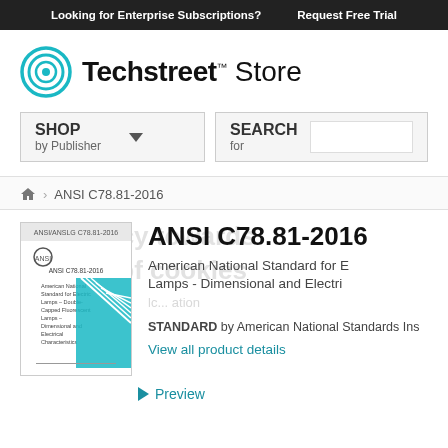Looking for Enterprise Subscriptions?    Request Free Trial
[Figure (logo): Techstreet Store logo with teal concentric circles icon]
SHOP by Publisher    SEARCH for
🏠 › ANSI C78.81-2016
ANSI C78.81-2016
American National Standard for Electric Lamps - Dimensional and Electrical Characteristics
STANDARD by American National Standards Institute
View all product details
[Figure (illustration): Cover image of ANSI C78.81-2016 standard document with teal geometric design]
Preview